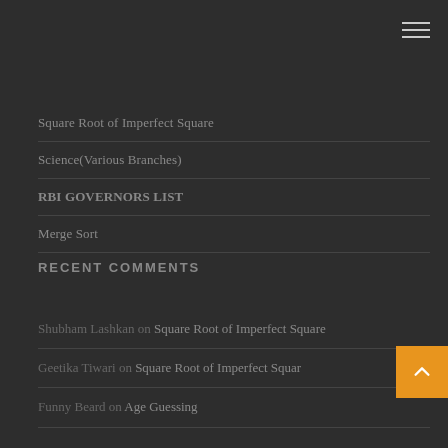Square Root of Imperfect Square
Science(Various Branches)
RBI GOVERNORS LIST
Merge Sort
RECENT COMMENTS
Shubham Lashkan on Square Root of Imperfect Square
Geetika Tiwari on Square Root of Imperfect Square
Funny Beard on Age Guessing